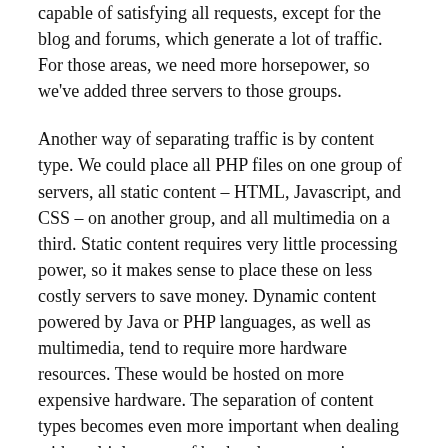capable of satisfying all requests, except for the blog and forums, which generate a lot of traffic. For those areas, we need more horsepower, so we've added three servers to those groups.
Another way of separating traffic is by content type. We could place all PHP files on one group of servers, all static content – HTML, Javascript, and CSS – on another group, and all multimedia on a third. Static content requires very little processing power, so it makes sense to place these on less costly servers to save money. Dynamic content powered by Java or PHP languages, as well as multimedia, tend to require more hardware resources. These would be hosted on more expensive hardware. The separation of content types becomes even more important when dealing with multiple types of backend programming languages. Having PHP, Python, and Java on the same server may cause reliability issues.